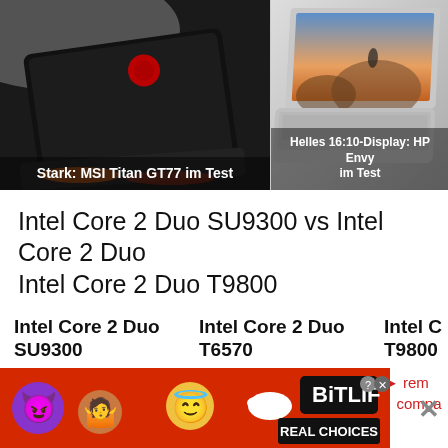[Figure (photo): MSI Titan GT77 laptop (black gaming laptop seen from rear), caption: Stark: MSI Titan GT77 im Test]
[Figure (photo): HP Envy laptop (silver laptop open showing display with scenic image), caption: Helles 16:10-Display: HP Envy im Test]
Intel Core 2 Duo SU9300 vs Intel Core 2 Duo T6570 vs Intel Core 2 Duo T9800
Intel Core 2 Duo SU9300
Intel Core 2 Duo T6570
Intel Core 2 Duo T9800
► remove from comparison
► remove from comparison
► remove from comparison
[Figure (advertisement): BitLife Real Choices game advertisement banner with emoji characters (devil, person, angel) on red background]